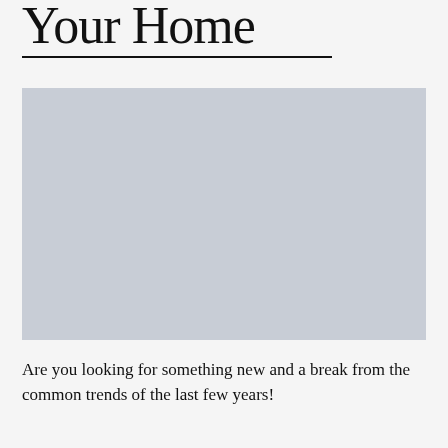Your Home
[Figure (photo): A large placeholder image with a light blue-grey background, representing a home-related photograph.]
Are you looking for something new and a break from the common trends of the last few years!